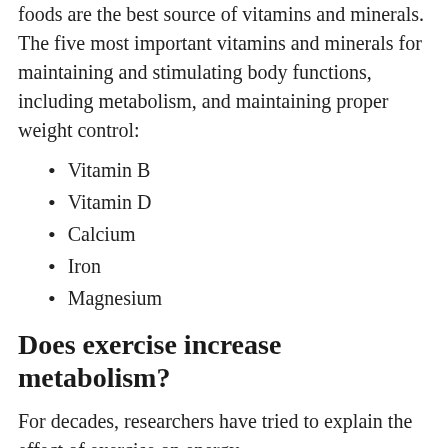Dietary supplements can help, but whole foods are the best source of vitamins and minerals. The five most important vitamins and minerals for maintaining and stimulating body functions, including metabolism, and maintaining proper weight control:
Vitamin B
Vitamin D
Calcium
Iron
Magnesium
Does exercise increase metabolism?
For decades, researchers have tried to explain the effect of exercise on energy